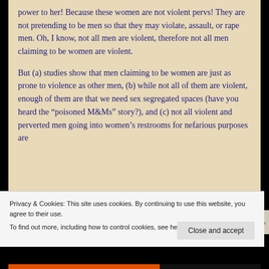power to her! Because these women are not violent pervs! They are not pretending to be men so that they may violate, assault, or rape men. Oh, I know, not all men are violent, therefore not all men claiming to be women are violent.
But (a) studies show that men claiming to be women are just as prone to violence as other men, (b) while not all of them are violent, enough of them are that we need sex segregated spaces (have you heard the “poisoned M&Ms” story?), and (c) not all violent and perverted men going into women’s restrooms for nefarious purposes are
Privacy & Cookies: This site uses cookies. By continuing to use this website, you agree to their use.
To find out more, including how to control cookies, see here: Cookie Policy
Close and accept